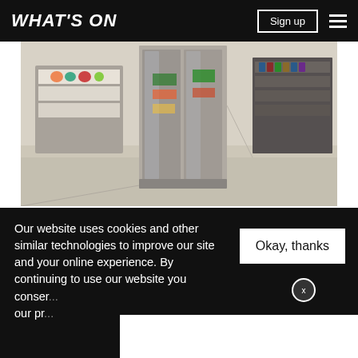WHAT'S ON
[Figure (photo): Interior of an M&S food store showing refrigerated display units in an aisle with a light-coloured floor]
Serving up all your M&S foodie favourites, the store is home to the same quintessentially British range as other M&S food stores in Dubai – with over 1,700 premium food lines available.
Our website uses cookies and other similar technologies to improve our site and your online experience. By continuing to use our website you consent... our pr...